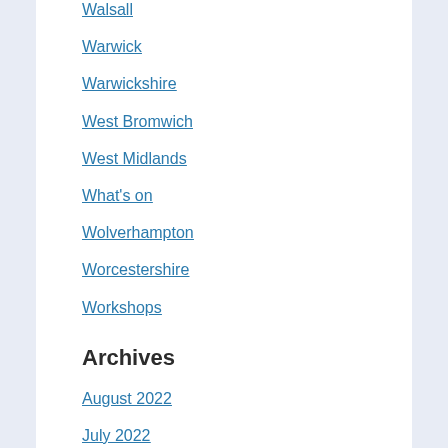Walsall
Warwick
Warwickshire
West Bromwich
West Midlands
What's on
Wolverhampton
Worcestershire
Workshops
Archives
August 2022
July 2022
June 2022
May 2022